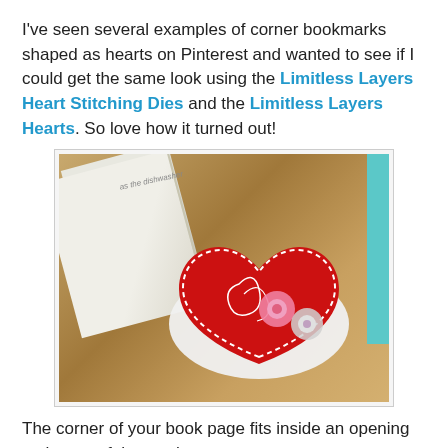I've seen several examples of corner bookmarks shaped as hearts on Pinterest and wanted to see if I could get the same look using the Limitless Layers Heart Stitching Dies and the Limitless Layers Hearts. So love how it turned out!
[Figure (photo): A red felt heart-shaped corner bookmark with white stitching and pink flower embellishments, placed on the corner of an open book on a wooden surface with a teal spine visible.]
The corner of your book page fits inside an opening at the top of the two hearts.
Instructions:
1. Die cut a plain heart in Pure Poppy and and a decorative